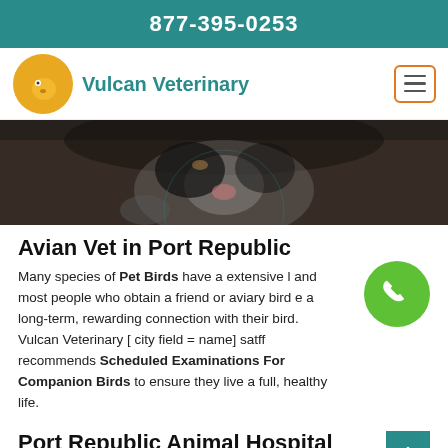877-395-0253
[Figure (logo): Vulcan Veterinary logo with stylized animal head in gold/yellow circle and teal text reading Vulcan Veterinary]
[Figure (photo): Close-up photo of a black and white cat or ferret face, dark moody background]
Avian Vet in Port Republic
Many species of Pet Birds have a extensive l... and most people who obtain a friend or aviary bird e... a long-term, rewarding connection with their bird. Vulcan Veterinary [ city field = name] satff recommends Scheduled Examinations For Companion Birds to ensure they live a full, healthy life.
Port Republic Animal Hospital Euthanasia